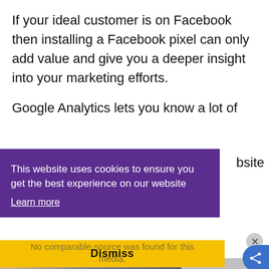If your ideal customer is on Facebook then installing a Facebook pixel can only add value and give you a deeper insight into your marketing efforts.
Google Analytics lets you know a lot of
bsite
This website uses cookies to ensure you get the best experience on our website
Learn more
No comparable source was found for this media.
Dismiss
[Figure (photo): Advertisement photo showing cargo aircraft being loaded, with a grey sidebar containing bold text 'WITHOUT REGARD TO POLITICS, RELIGION, OR ABILITY TO PAY']